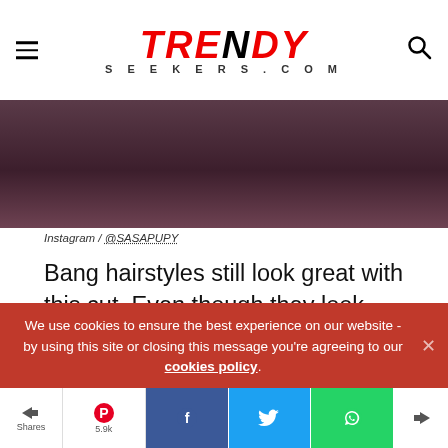TRENDY SEEKERS .COM
[Figure (photo): Photo of a man in a dark maroon/purple jacket, cropped to show shoulders and lower face/neck area]
Instagram / @SASAPUPY
Bang hairstyles still look great with this cut. Even though they look messy, a great deal of styling brings it to the best. A front-staged bang with trimmed sides and back offers a dashing style to the lucky man.
We use cookies to ensure the best experience on our website - by using this site or closing this message you're agreeing to our cookies policy.